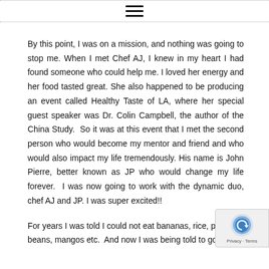≡
By this point, I was on a mission, and nothing was going to stop me. When I met Chef AJ, I knew in my heart I had found someone who could help me. I loved her energy and her food tasted great. She also happened to be producing an event called Healthy Taste of LA, where her special guest speaker was Dr. Colin Campbell, the author of the China Study. So it was at this event that I met the second person who would become my mentor and friend and who would also impact my life tremendously. His name is John Pierre, better known as JP who would change my life forever. I was now going to work with the dynamic duo, chef AJ and JP. I was super excited!!
For years I was told I could not eat bananas, rice, po... beans, mangos etc. And now I was being told to go right...